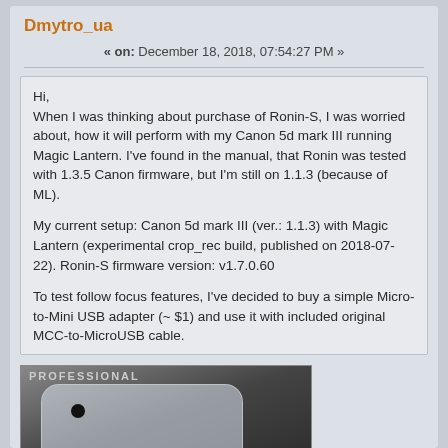Dmytro_ua
« on: December 18, 2018, 07:54:27 PM »
Hi,
When I was thinking about purchase of Ronin-S, I was worried about, how it will perform with my Canon 5d mark III running Magic Lantern. I've found in the manual, that Ronin was tested with 1.3.5 Canon firmware, but I'm still on 1.1.3 (because of ML).

My current setup: Canon 5d mark III (ver.: 1.1.3)  with Magic Lantern (experimental crop_rec build, published on 2018-07-22). Ronin-S firmware version: v1.7.0.60

To test follow focus features, I've decided to buy a simple Micro-to-Mini USB adapter (~ $1) and use it with included original MCC-to-MicroUSB cable.
[Figure (photo): Photo of a Micro-to-Mini USB adapter in plastic packaging, dark background]